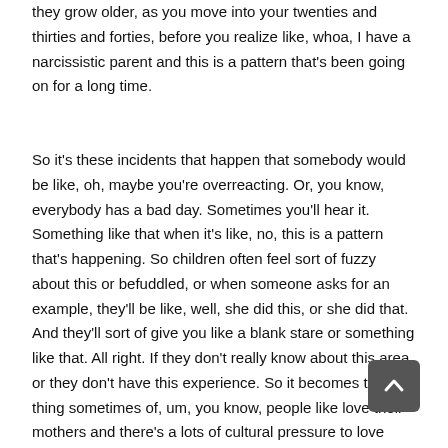they grow older, as you move into your twenties and thirties and forties, before you realize like, whoa, I have a narcissistic parent and this is a pattern that's been going on for a long time.
So it's these incidents that happen that somebody would be like, oh, maybe you're overreacting. Or, you know, everybody has a bad day. Sometimes you'll hear it. Something like that when it's like, no, this is a pattern that's happening. So children often feel sort of fuzzy about this or befuddled, or when someone asks for an example, they'll be like, well, she did this, or she did that. And they'll sort of give you like a blank stare or something like that. All right. If they don't really know about this area or they don't have this experience. So it becomes this thing sometimes of, um, you know, people like love their mothers and there's a lots of cultural pressure to love your mother. And they really